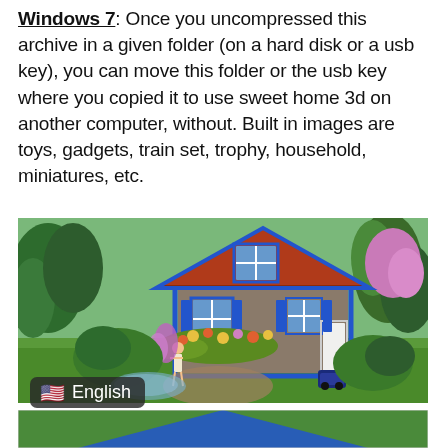Windows 7: Once you uncompressed this archive in a given folder (on a hard disk or a usb key), you can move this folder or the usb key where you copied it to use sweet home 3d on another computer, without. Built in images are toys, gadgets, train set, trophy, household, miniatures, etc.
[Figure (screenshot): A 3D rendered screenshot of a house with a red roof and blue shutters, surrounded by lush green gardens, trees, flowers, a female character figure near a path, and a robotic lawn mower on the grass.]
[Figure (screenshot): Partial view of another 3D rendered screenshot showing a blue roof structure, partially visible at the bottom of the page.]
🇺🇸 English